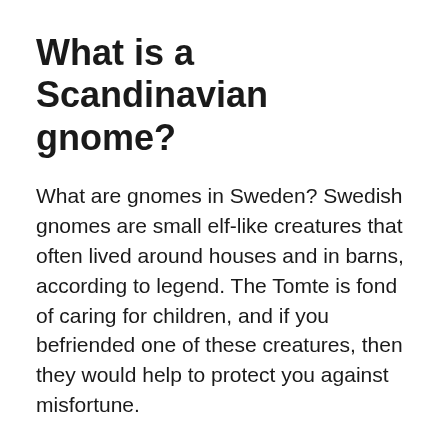What is a Scandinavian gnome?
What are gnomes in Sweden? Swedish gnomes are small elf-like creatures that often lived around houses and in barns, according to legend. The Tomte is fond of caring for children, and if you befriended one of these creatures, then they would help to protect you against misfortune.
Are gnomes German?
The first known garden gnomes were produced in Germany in the early 1800s. They were made out of clay. Gnomes first appeared in gardens in England in the